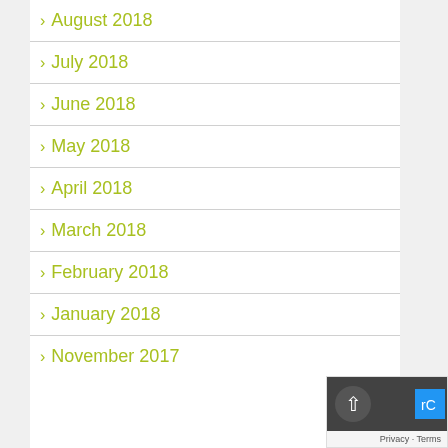August 2018
July 2018
June 2018
May 2018
April 2018
March 2018
February 2018
January 2018
November 2017